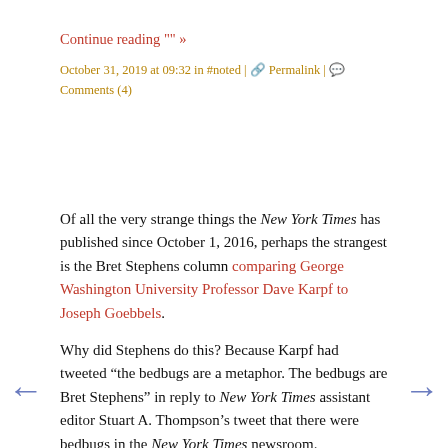Continue reading "" »
October 31, 2019 at 09:32 in #noted | Permalink | Comments (4)
Of all the very strange things the New York Times has published since October 1, 2016, perhaps the strangest is the Bret Stephens column comparing George Washington University Professor Dave Karpf to Joseph Goebbels.
Why did Stephens do this? Because Karpf had tweeted “the bedbugs are a metaphor. The bedbugs are Bret Stephens” in reply to New York Times assistant editor Stuart A. Thompson’s tweet that there were bedbugs in the New York Times newsroom.
In response to things like this, I find the Washington Post’s Alexandra Petri usually responds at the appropriate level. And she does so here:
Alexandra Petri: I Am a Bedbug and Would Like to Be Kept Out of This Mess: "My name has been soiled and made dirty like a place I would love to relax at with my blood meal. Please, I would like to be kept out of this